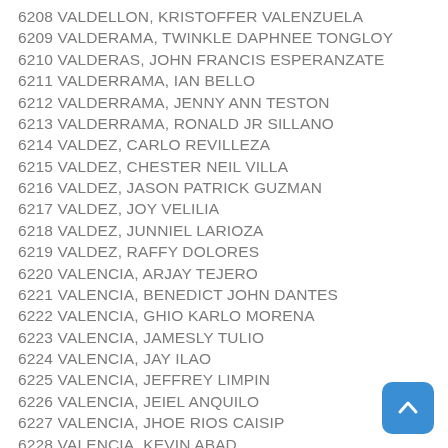6208 VALDELLON, KRISTOFFER VALENZUELA
6209 VALDERAMA, TWINKLE DAPHNEE TONGLOY
6210 VALDERAS, JOHN FRANCIS ESPERANZATE
6211 VALDERRAMA, IAN BELLO
6212 VALDERRAMA, JENNY ANN TESTON
6213 VALDERRAMA, RONALD JR SILLANO
6214 VALDEZ, CARLO REVILLEZA
6215 VALDEZ, CHESTER NEIL VILLA
6216 VALDEZ, JASON PATRICK GUZMAN
6217 VALDEZ, JOY VELILIA
6218 VALDEZ, JUNNIEL LARIOZA
6219 VALDEZ, RAFFY DOLORES
6220 VALENCIA, ARJAY TEJERO
6221 VALENCIA, BENEDICT JOHN DANTES
6222 VALENCIA, GHIO KARLO MORENA
6223 VALENCIA, JAMESLY TULIO
6224 VALENCIA, JAY ILAO
6225 VALENCIA, JEFFREY LIMPIN
6226 VALENCIA, JEIEL ANQUILO
6227 VALENCIA, JHOE RIOS CAISIP
6228 VALENCIA, KEVIN ABAD